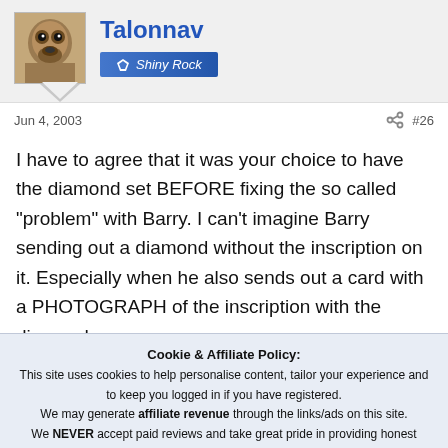Talonnav
[Figure (photo): Avatar image of a pug dog]
[Figure (other): Rank badge reading 'Shiny Rock' with diamond icon]
Jun 4, 2003
#26
I have to agree that it was your choice to have the diamond set BEFORE fixing the so called "problem" with Barry. I can't imagine Barry sending out a diamond without the inscription on it. Especially when he also sends out a card with a PHOTOGRAPH of the inscription with the diamond.
Cookie & Affiliate Policy: This site uses cookies to help personalise content, tailor your experience and to keep you logged in if you have registered. We may generate affiliate revenue through the links/ads on this site. We NEVER accept paid reviews and take great pride in providing honest opinions and objective information on products & services. By continuing to use this site, you are consenting to our use of cookie policy.
Accept
Learn more...